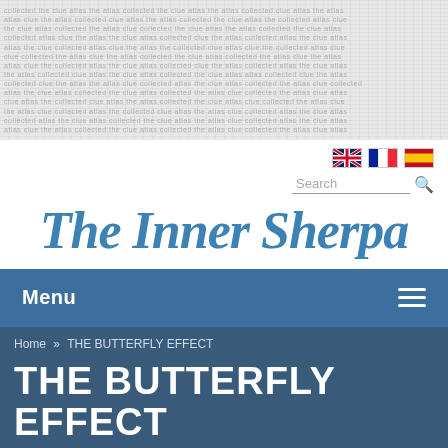[Figure (screenshot): Watermark/texture background at top of page with faint repeated text pattern]
[Figure (illustration): UK flag (Union Jack) icon]
[Figure (illustration): French flag (tricolour) icon]
[Figure (illustration): Spanish flag icon]
The Inner Sherpa
Menu
Home » THE BUTTERFLY EFFECT
THE BUTTERFLY EFFECT
Date: Thursday, July 22, 2021